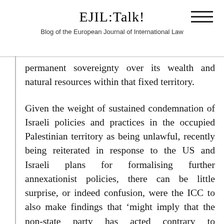EJIL:Talk!
Blog of the European Journal of International Law
permanent sovereignty over its wealth and natural resources within that fixed territory.
Given the weight of sustained condemnation of Israeli policies and practices in the occupied Palestinian territory as being unlawful, recently being reiterated in response to the US and Israeli plans for formalising further annexationist policies, there can be little surprise, or indeed confusion, were the ICC to also make findings that ‘might imply that the non-state party has acted contrary to international law’. As such, I don’t see how Monetary Gold can be applicable. The ‘very